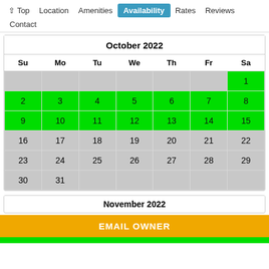↑ Top   Location   Amenities   Availability   Rates   Reviews   Contact
| Su | Mo | Tu | We | Th | Fr | Sa |
| --- | --- | --- | --- | --- | --- | --- |
|  |  |  |  |  |  | 1 |
| 2 | 3 | 4 | 5 | 6 | 7 | 8 |
| 9 | 10 | 11 | 12 | 13 | 14 | 15 |
| 16 | 17 | 18 | 19 | 20 | 21 | 22 |
| 23 | 24 | 25 | 26 | 27 | 28 | 29 |
| 30 | 31 |  |  |  |  |  |
November 2022
EMAIL OWNER